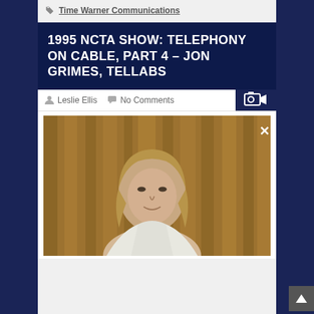Time Warner Communications
1995 NCTA SHOW: TELEPHONY ON CABLE, PART 4 – JON GRIMES, TELLABS
Leslie Ellis   No Comments
[Figure (screenshot): Screenshot of a web page showing a video player with a woman on screen in a white jacket, with a dark golden curtain background. A close (X) button is visible in the upper right of the video frame. The page has a dark navy blue sidebar and a light gray/white main content area.]